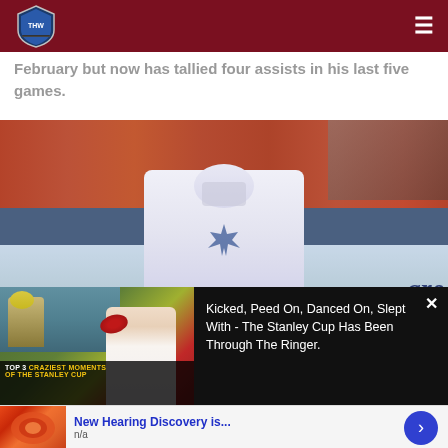THW - The Hockey Writers
February but now has tallied four assists in his last five games.
[Figure (photo): Toronto Maple Leafs hockey player skating on ice in white jersey with maple leaf logo, crowd in orange jerseys visible in background, rink boards with Care and Stu signage]
[Figure (screenshot): Video overlay: TOP 3 CRAZIEST MOMENTS OF THE STANLEY CUP video thumbnail with woman reporter and Stanley Cup trophy image, alongside text: Kicked, Peed On, Danced On, Slept With - The Stanley Cup Has Been Through The Ringer.]
[Figure (photo): Advertisement banner: New Hearing Discovery is... n/a with red/orange medical illustration thumbnail and blue arrow button]